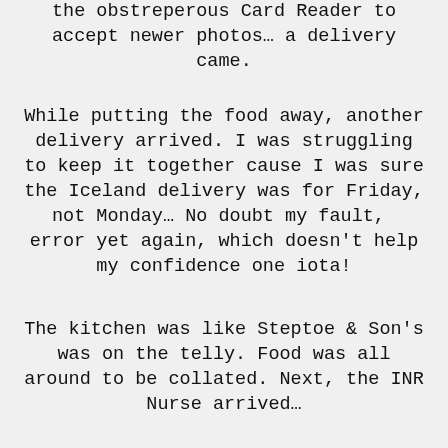the obstreperous Card Reader to accept newer photos… a delivery came.
While putting the food away, another delivery arrived. I was struggling to keep it together cause I was sure the Iceland delivery was for Friday, not Monday… No doubt my fault,  error yet again, which doesn't help my confidence one iota!
The kitchen was like Steptoe & Son's was on the telly. Food was all around to be collated. Next, the INR Nurse arrived…